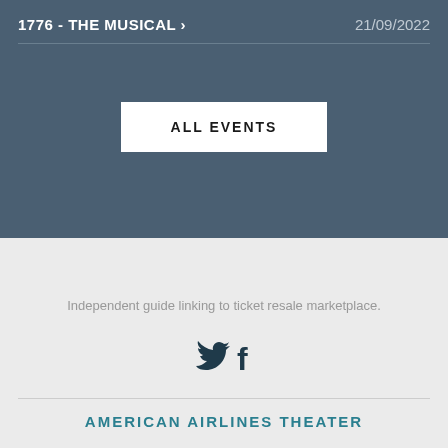1776 - THE MUSICAL >    21/09/2022
ALL EVENTS
Independent guide linking to ticket resale marketplace.
[Figure (illustration): Twitter bird icon and Facebook f icon in dark teal/navy color]
AMERICAN AIRLINES THEATER